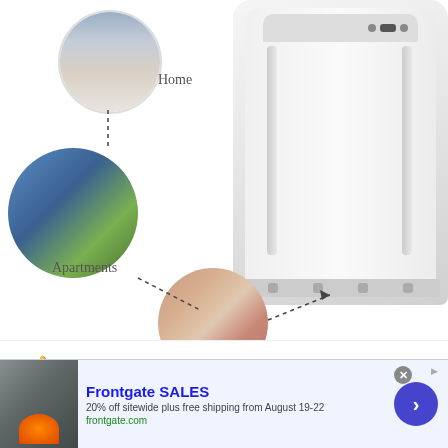[Figure (infographic): Infographic showing a portable washing machine with three circular images connected by dashed lines: a home living room (labeled 'Home'), an apartment building (labeled 'Apartments'), and a dorm room scene (labeled 'Dorms'). The washing machine is shown on the right side.]
👍Pros
[Figure (other): Advertisement banner for Frontgate SALES: '20% off sitewide plus free shipping from August 19-22', frontgate.com, with a patio furniture image on the left and a blue arrow button on the right.]